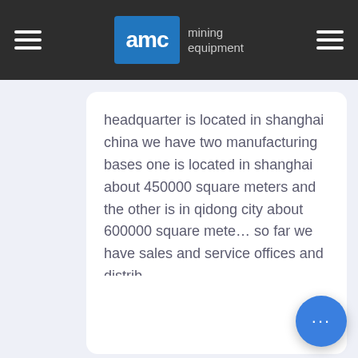AMC mining equipment
headquarter is located in shanghai china we have two manufacturing bases one is located in shanghai about 450000 square meters and the other is in qidong city about 600000 square mete... so far we have sales and service offices and distrib